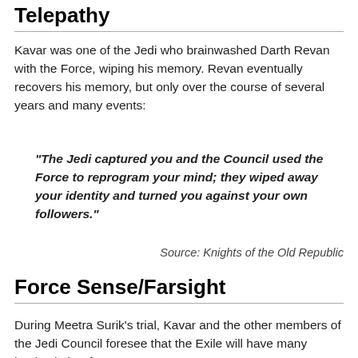Telepathy
Kavar was one of the Jedi who brainwashed Darth Revan with the Force, wiping his memory. Revan eventually recovers his memory, but only over the course of several years and many events:
"The Jedi captured you and the Council used the Force to reprogram your mind; they wiped away your identity and turned you against your own followers."
Source: Knights of the Old Republic
Force Sense/Farsight
During Meetra Surik's trial, Kavar and the other members of the Jedi Council foresee that the Exile will have many battles in her future: